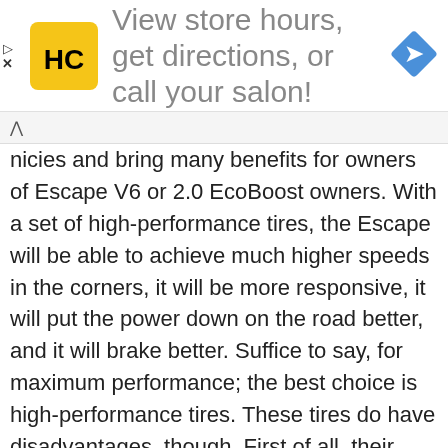[Figure (infographic): Advertisement banner: HC logo (yellow square with HC letters) and text 'View store hours, get directions, or call your salon!' with a blue navigation arrow diamond icon on the right.]
nicies and bring many benefits for owners of Escape V6 or 2.0 EcoBoost owners. With a set of high-performance tires, the Escape will be able to achieve much higher speeds in the corners, it will be more responsive, it will put the power down on the road better, and it will brake better. Suffice to say, for maximum performance; the best choice is high-performance tires. These tires do have disadvantages, though. First of all, their tread life is not nearly as good as touring and grand-touring tires and perhaps more important, they aren't as comfortable or quiet.